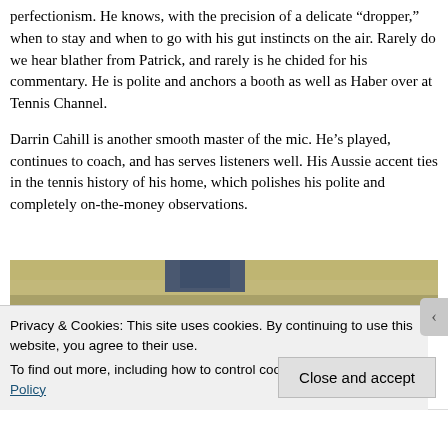perfectionism. He knows, with the precision of a delicate “dropper,” when to stay and when to go with his gut instincts on the air. Rarely do we hear blather from Patrick, and rarely is he chided for his commentary. He is polite and anchors a booth as well as Haber over at Tennis Channel.
Darrin Cahill is another smooth master of the mic. He’s played, continues to coach, and has serves listeners well. His Aussie accent ties in the tennis history of his home, which polishes his polite and completely on-the-money observations.
[Figure (photo): Partial photo visible at bottom of page showing what appears to be a room or court with beige/tan walls and a dark blue element near the top center.]
Privacy & Cookies: This site uses cookies. By continuing to use this website, you agree to their use.
To find out more, including how to control cookies, see here: Cookie Policy